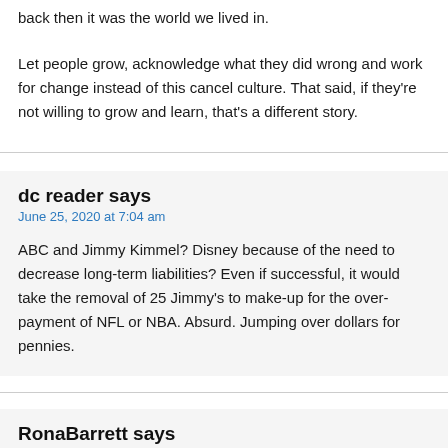back then it was the world we lived in.
Let people grow, acknowledge what they did wrong and work for change instead of this cancel culture. That said, if they're not willing to grow and learn, that's a different story.
dc reader says
June 25, 2020 at 7:04 am
ABC and Jimmy Kimmel? Disney because of the need to decrease long-term liabilities? Even if successful, it would take the removal of 25 Jimmy's to make-up for the over-payment of NFL or NBA. Absurd. Jumping over dollars for pennies.
RonaBarrett says
June 25, 2020 at 7:01 am